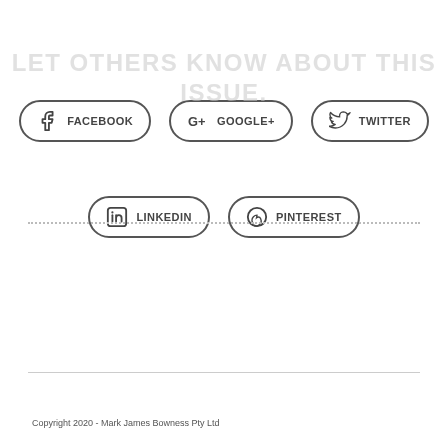[Figure (infographic): Social media share buttons: Facebook, Google+, Twitter (top row); LinkedIn, Pinterest (bottom row). Each button has an icon and label inside a rounded pill border.]
LET OTHERS KNOW ABOUT THIS ISSUE.
Copyright 2020 - Mark James Bowness Pty Ltd